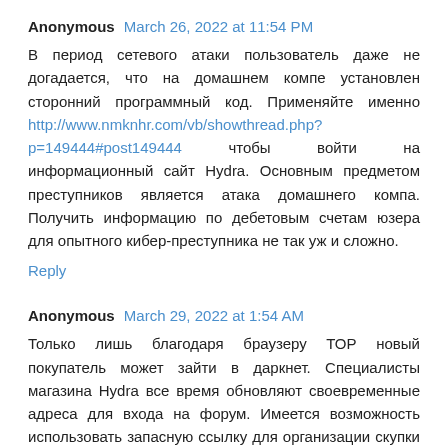Anonymous March 26, 2022 at 11:54 PM
В период сетевого атаки пользователь даже не догадается, что на домашнем компе установлен сторонний программный код. Применяйте именно http://www.nmknhr.com/vb/showthread.php?p=149444#post149444 чтобы войти на информационный сайт Hydra. Основным предметом преступников является атака домашнего компа. Получить информацию по дебетовым счетам юзера для опытного кибер-преступника не так уж и сложно.
Reply
Anonymous March 29, 2022 at 1:54 AM
Только лишь благодаря браузеру ТОР новый покупатель может зайти в даркнет. Специалисты магазина Hydra все время обновляют своевременные адреса для входа на форум. Имеется возможность использовать запасную ссылку для организации скупки на маркетплейсе Gidra. Для захода на http://kupit-...